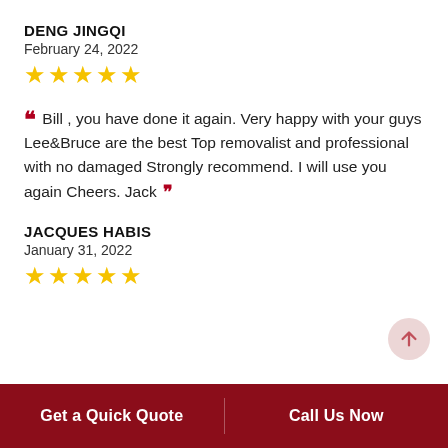DENG JINGQI
February 24, 2022
[Figure (other): 5 gold stars rating]
" Bill , you have done it again. Very happy with your guys Lee&Bruce are the best Top removalist and professional with no damaged Strongly recommend. I will use you again Cheers. Jack "
JACQUES HABIS
January 31, 2022
[Figure (other): 5 gold stars rating]
Get a Quick Quote | Call Us Now